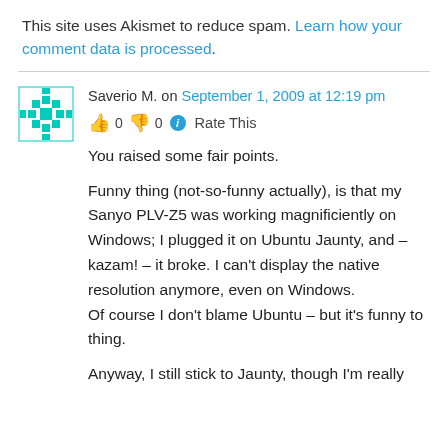This site uses Akismet to reduce spam. Learn how your comment data is processed.
Saverio M. on September 1, 2009 at 12:19 pm
👍 0 👎 0 ℹ Rate This
You raised some fair points.
Funny thing (not-so-funny actually), is that my Sanyo PLV-Z5 was working magnificiently on Windows; I plugged it on Ubuntu Jaunty, and – kazam! – it broke. I can't display the native resolution anymore, even on Windows.
Of course I don't blame Ubuntu – but it's funny to thing.
Anyway, I still stick to Jaunty, though I'm really